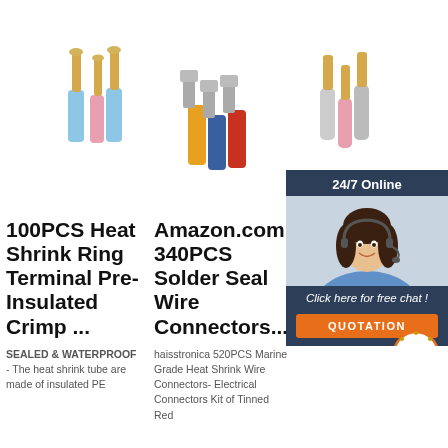[Figure (photo): Three groups of wire terminal connectors — heat shrink ring terminals (blue, gold, pink), spade/flag terminals (orange, silver, blue, red), and bullet connectors (silver, gold, pink) shown on white background.]
[Figure (photo): Customer service agent woman with headset smiling, overlaid with dark blue '24/7 Online' banner, 'Click here for free chat!' text, and orange QUOTATION button. Also features a TOP circular badge.]
100PCS Heat Shrink Ring Terminal Pre-Insulated Crimp ...
SEALED & WATERPROOF - The heat shrink tube are made of insulated PE
Amazon.com 340PCS Solder Seal Wire Connectors ...
haisstronica 520PCS Marine Grade Heat Shrink Wire Connectors- Electrical Connectors Kit of Tinned Red
Wire Term Sele Guid Type Fea ...
2021-9-28u2002·u2002Wire terminals are passive conductors used to facilitate a